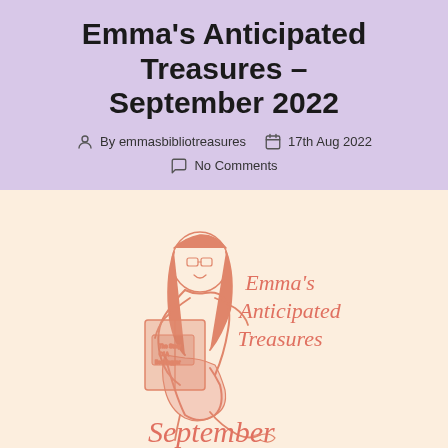Emma's Anticipated Treasures – September 2022
By emmasbibliotreasures   17th Aug 2022
No Comments
[Figure (illustration): Illustrated image on peach/cream background showing a cartoon girl with glasses and long hair reading a book, holding it up. Text reads 'Emma's Anticipated Treasures' in script lettering on the right side. At the bottom, script text reads 'September'.]